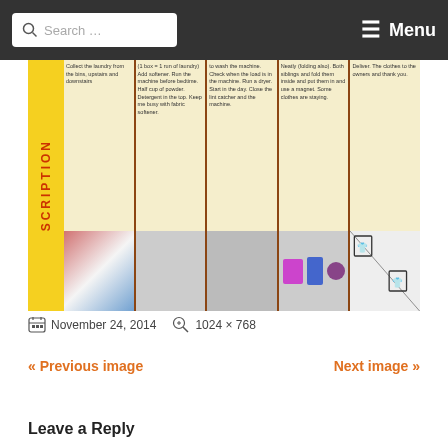[Figure (photo): Photograph of a student-made poster showing steps for how to do laundry, with columns labeled Steps, Step 2, Step 3, Step 4, Step 5 and handwritten instructions with drawings below each header.]
Search ... Menu
November 24, 2014   1024 × 768
« Previous image
Next image »
Leave a Reply